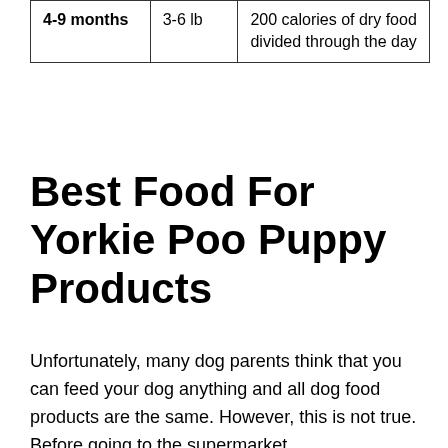| 4-9 months | 3-6 lb | 200 calories of dry food divided through the day |
Best Food For Yorkie Poo Puppy Products
Unfortunately, many dog parents think that you can feed your dog anything and all dog food products are the same. However, this is not true. Before going to the supermarket,